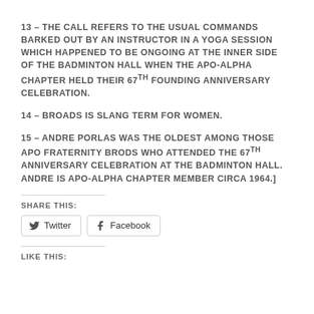13 – THE CALL REFERS TO THE USUAL COMMANDS BARKED OUT BY AN INSTRUCTOR IN A YOGA SESSION WHICH HAPPENED TO BE ONGOING AT THE INNER SIDE OF THE BADMINTON HALL WHEN THE APO-ALPHA CHAPTER HELD THEIR 67TH FOUNDING ANNIVERSARY CELEBRATION.
14 – BROADS IS SLANG TERM FOR WOMEN.
15 – ANDRE PORLAS WAS THE OLDEST AMONG THOSE APO FRATERNITY BRODS WHO ATTENDED THE 67TH ANNIVERSARY CELEBRATION AT THE BADMINTON HALL. ANDRE IS APO-ALPHA CHAPTER MEMBER CIRCA 1964.]
SHARE THIS:
Twitter  Facebook
LIKE THIS: